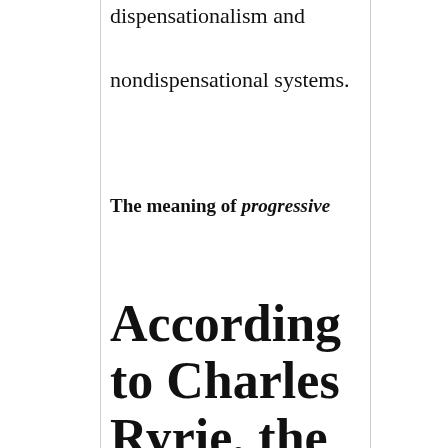dispensationalism and nondispensational systems.
The meaning of progressive
According to Charles Ryrie, the adjective 'progressive'